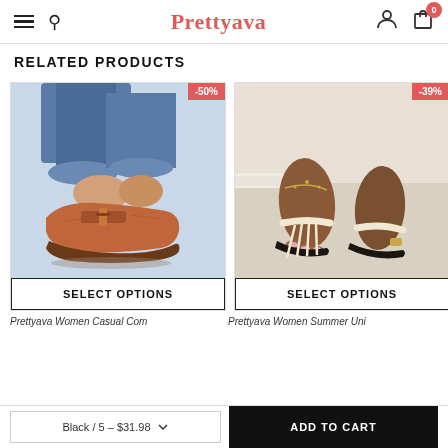Prettyava — navigation header with hamburger menu, search, user icon, cart icon (0 items)
RELATED PRODUCTS
[Figure (photo): Product photo of rust/brown suede slip-on shoes worn with rolled jeans, -50% discount badge]
[Figure (photo): Product photo of beige fringed flip-flop sandals worn by a dark-skinned woman, -39% discount badge]
SELECT OPTIONS
SELECT OPTIONS
Prettyava Women Casual Com
Prettyava Women Summer Uni
Black / 5 – $31.98
ADD TO CART